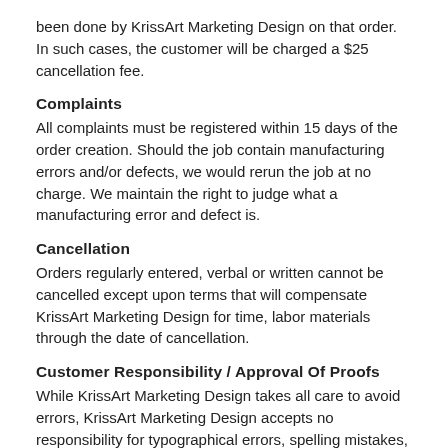been done by KrissArt Marketing Design on that order. In such cases, the customer will be charged a $25 cancellation fee.
Complaints
All complaints must be registered within 15 days of the order creation. Should the job contain manufacturing errors and/or defects, we would rerun the job at no charge. We maintain the right to judge what a manufacturing error and defect is.
Cancellation
Orders regularly entered, verbal or written cannot be cancelled except upon terms that will compensate KrissArt Marketing Design for time, labor materials through the date of cancellation.
Customer Responsibility / Approval Of Proofs
While KrissArt Marketing Design takes all care to avoid errors, KrissArt Marketing Design accepts no responsibility for typographical errors, spelling mistakes, or incorrect